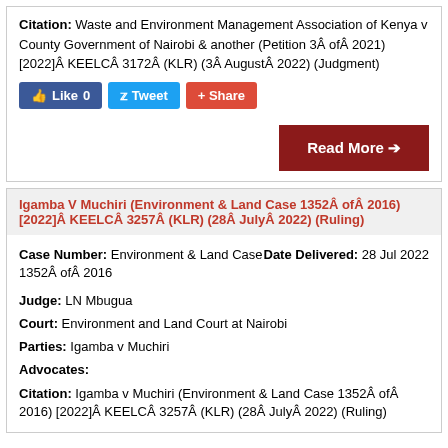Citation: Waste and Environment Management Association of Kenya v County Government of Nairobi & another (Petition 3Â ofÂ 2021) [2022]Â KEELCÂ 3172Â (KLR) (3Â AugustÂ 2022) (Judgment)
[Figure (screenshot): Social sharing buttons: Like 0, Tweet, Share]
Read More →
Igamba V Muchiri (Environment & Land Case 1352Â ofÂ 2016) [2022]Â KEELCÂ 3257Â (KLR) (28Â JulyÂ 2022) (Ruling)
Case Number: Environment & Land Case 1352Â ofÂ 2016
Date Delivered: 28 Jul 2022
Judge: LN Mbugua
Court: Environment and Land Court at Nairobi
Parties: Igamba v Muchiri
Advocates:
Citation: Igamba v Muchiri (Environment & Land Case 1352Â ofÂ 2016) [2022]Â KEELCÂ 3257Â (KLR) (28Â JulyÂ 2022) (Ruling)